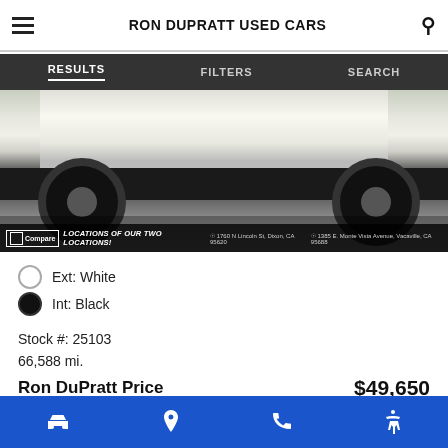RON DUPRATT USED CARS
RESULTS   FILTERS   SEARCH
[Figure (photo): Bottom portion of a white pickup truck with black wheels, viewed from the side/front at low angle. An overlay bar at the bottom shows two location addresses: 1760 N Lincoln St, Dixon, CA 95620 and 1385 E. Monte Vista Avenue, Vacaville, CA 95688. A 'Compare' button is visible.]
Ext: White
Int: Black
Stock #: 25103
66,588 mi.
Ron DuPratt Price   $49,650
SHOW ME THE
Car icon   Location icon   Phone icon   Accessibility icon